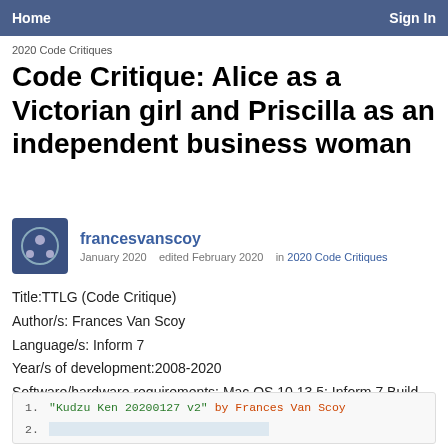Home   Sign In
2020 Code Critiques
Code Critique: Alice as a Victorian girl and Priscilla as an independent business woman
francesvanscoy
January 2020   edited February 2020   in 2020 Code Critiques
Title:TTLG (Code Critique)
Author/s: Frances Van Scoy
Language/s: Inform 7
Year/s of development:2008-2020
Software/hardware requirements: Mac OS 10.13.5; Inform 7 Build 6M62
1.  "Kudzu Ken 20200127 v2" by Frances Van Scoy
2.  [highlighted]